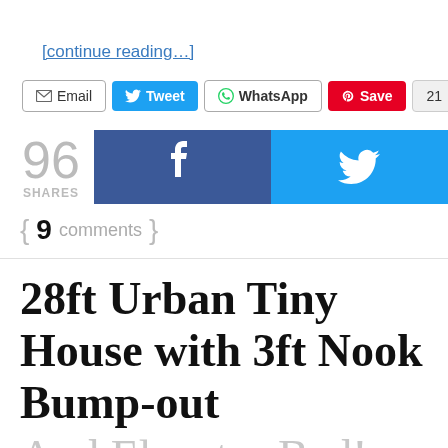[continue reading…]
[Figure (screenshot): Social sharing buttons row: Email, Tweet, WhatsApp, Save (Pinterest), count 21]
[Figure (screenshot): Large social share buttons: 96 SHARES count, Facebook (f) button, Twitter (bird) button]
{ 9 comments }
28ft Urban Tiny House with 3ft Nook Bump-out
And Elevator Bed!